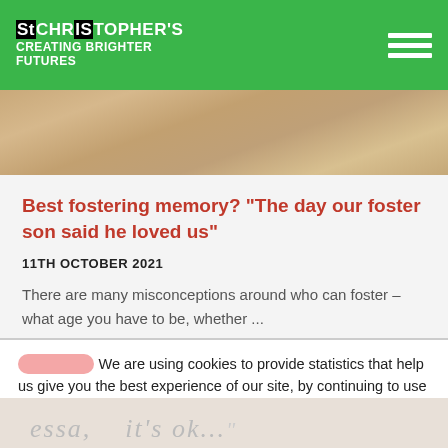St Christopher's Creating Brighter Futures
[Figure (photo): Close-up photo of a person with blonde hair, partially visible at the top of the page]
Best fostering memory? “The day our foster son said he loved us”
11TH OCTOBER 2021
There are many misconceptions around who can foster – what age you have to be, whether ...
We are using cookies to provide statistics that help us give you the best experience of our site, by continuing to use the site without changing settings, you are agreeing to our use of cookies.
Accept
[Figure (photo): Bottom strip showing handwritten-style text that reads 'it's ok...' in light gray]